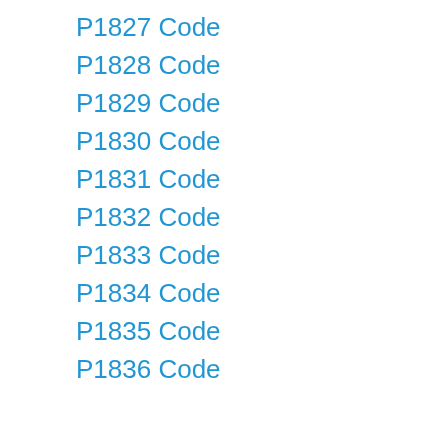P1827 Code
P1828 Code
P1829 Code
P1830 Code
P1831 Code
P1832 Code
P1833 Code
P1834 Code
P1835 Code
P1836 Code